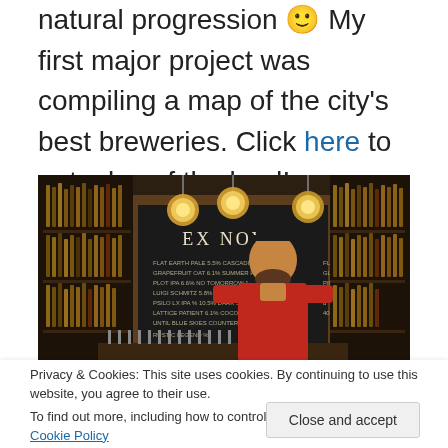natural progression 🙂 My first major project was compiling a map of the city's best breweries. Click here to get a lay of the land!
[Figure (photo): Interior of Ex Novo brewery/bar showing a bearded man in a red shirt standing behind the bar, with a chalkboard menu on the wall behind him listing beers, bottle-lined shelves, and hanging globe Edison light fixtures.]
Privacy & Cookies: This site uses cookies. By continuing to use this website, you agree to their use.
To find out more, including how to control cookies, see here: Cookie Policy